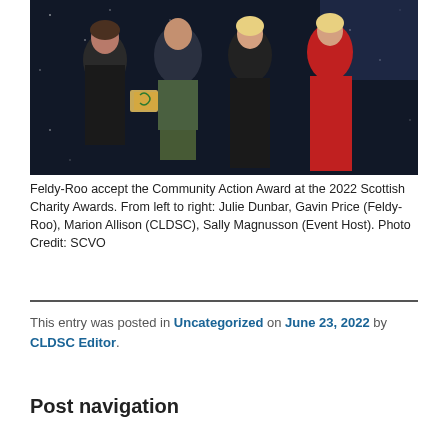[Figure (photo): Four people standing on a stage at an awards ceremony. From left to right: a woman in black, a man in a kilt holding a wooden award, a woman in a black sequined dress, and a woman in a red dress. Dark starry background.]
Feldy-Roo accept the Community Action Award at the 2022 Scottish Charity Awards. From left to right: Julie Dunbar, Gavin Price (Feldy-Roo), Marion Allison (CLDSC), Sally Magnusson (Event Host). Photo Credit: SCVO
This entry was posted in Uncategorized on June 23, 2022 by CLDSC Editor.
Post navigation